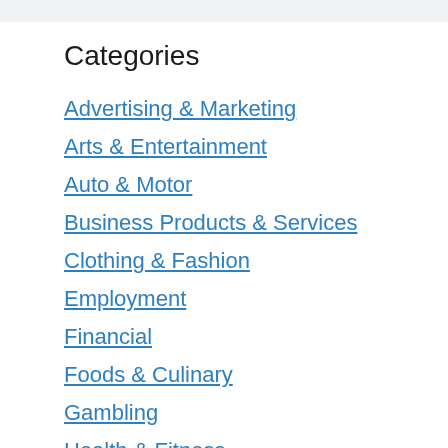Categories
Advertising & Marketing
Arts & Entertainment
Auto & Motor
Business Products & Services
Clothing & Fashion
Employment
Financial
Foods & Culinary
Gambling
Health & Fitness